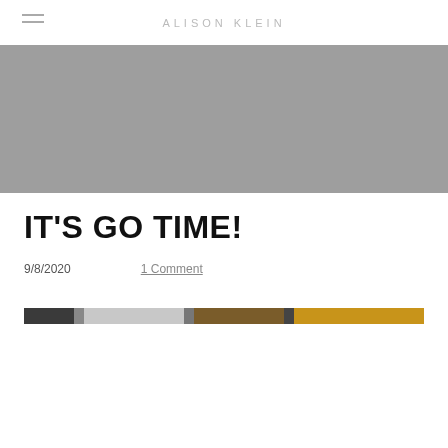ALISON KLEIN
[Figure (photo): Gray hero image banner at top of blog post]
IT'S GO TIME!
9/8/2020    1 Comment
[Figure (photo): Horizontal thumbnail strip showing a series of small cropped images in dark, grey, brown, and golden tones]